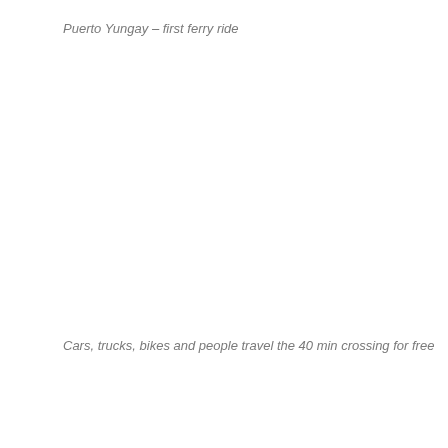Puerto Yungay – first ferry ride
Cars, trucks, bikes and people travel the 40 min crossing for free